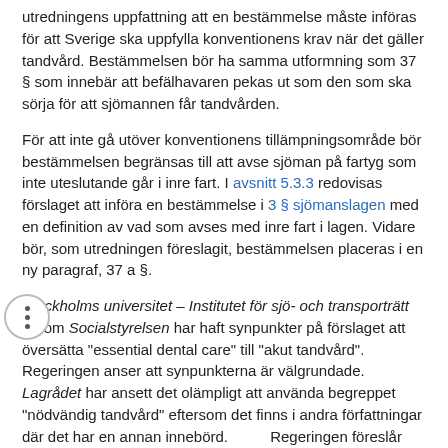utredningens uppfattning att en bestämmelse måste införas för att Sverige ska uppfylla konventionens krav när det gäller tandvård. Bestämmelsen bör ha samma utformning som 37 § som innebär att befälhavaren pekas ut som den som ska sörja för att sjömannen får tandvården.
För att inte gå utöver konventionens tillämpningsområde bör bestämmelsen begränsas till att avse sjöman på fartyg som inte uteslutande går i inre fart. I avsnitt 5.3.3 redovisas förslaget att införa en bestämmelse i 3 § sjömanslagen med en definition av vad som avses med inre fart i lagen. Vidare bör, som utredningen föreslagit, bestämmelsen placeras i en ny paragraf, 37 a §.
Stockholms universitet – Institutet för sjö- och transporträtt liksom Socialstyrelsen har haft synpunkter på förslaget att översätta "essential dental care" till "akut tandvård". Regeringen anser att synpunkterna är välgrundade. Lagrådet har ansett det olämpligt att använda begreppet "nödvändig tandvård" eftersom det finns i andra författningar där det har en annan innebörd. Regeringen föreslår därför i stället begreppet "oundgänglig tandvård". Den faktiska skillnaden mellan sådan tandvård och akut tandvård ska dock inte tillmätas för stor betydelse. Fortfarande avses en vård som inte kan anstå utan besvärliga